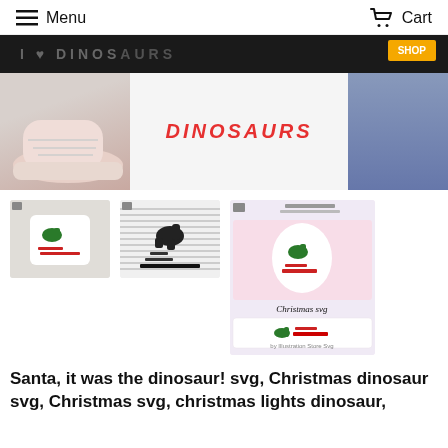Menu   Cart
[Figure (photo): Hero banner showing a dinosaur t-shirt design with 'DINOSAURS' text in red on a white shirt, pink sneakers visible on left, jeans on right, with a dark top bar and yellow button]
[Figure (photo): Thumbnail 1: Santa it was the dinosaur SVG design on white shirt with green T-rex, pink sneakers and jeans background]
[Figure (photo): Thumbnail 2: Santa it was the dinosaur SVG black and white striped style design]
[Figure (photo): Thumbnail 3: Tall product sheet showing Christmas SVG pack with Santa/dinosaur design on onesie and design sheet]
Santa, it was the dinosaur! svg, Christmas dinosaur svg, Christmas svg, christmas lights dinosaur,